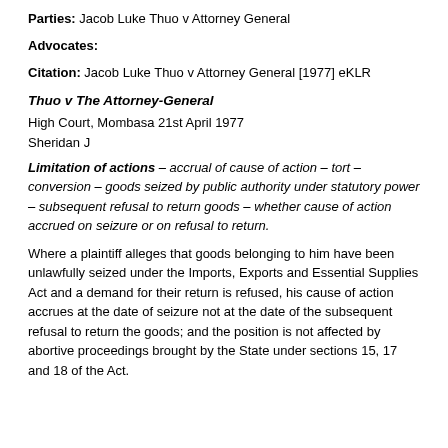Parties: Jacob Luke Thuo v Attorney General
Advocates:
Citation: Jacob Luke Thuo v Attorney General [1977] eKLR
Thuo v The Attorney-General
High Court, Mombasa 21st April 1977
Sheridan J
Limitation of actions – accrual of cause of action – tort – conversion – goods seized by public authority under statutory power – subsequent refusal to return goods – whether cause of action accrued on seizure or on refusal to return.
Where a plaintiff alleges that goods belonging to him have been unlawfully seized under the Imports, Exports and Essential Supplies Act and a demand for their return is refused, his cause of action accrues at the date of seizure not at the date of the subsequent refusal to return the goods; and the position is not affected by abortive proceedings brought by the State under sections 15, 17 and 18 of the Act.